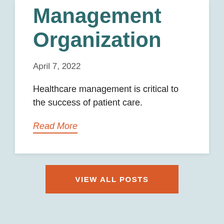Management Organization
April 7, 2022
Healthcare management is critical to the success of patient care.
Read More
VIEW ALL POSTS